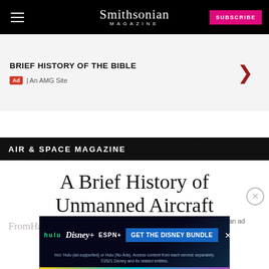Smithsonian MAGAZINE
[Figure (screenshot): Advertisement banner: BRIEF HISTORY OF THE BIBLE, Ad | An AMG Site, with right-pointing chevron arrow]
AIR & SPACE MAGAZINE
A Brief History of Unmanned Aircraft
From... Hawk
[Figure (screenshot): Disney Bundle advertisement showing Hulu, Disney+, ESPN+ logos with GET THE DISNEY BUNDLE call to action button and fine print about subscription terms]